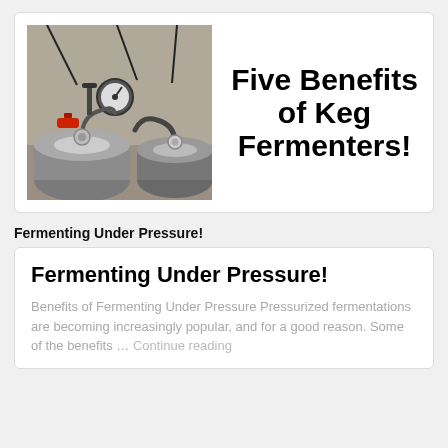[Figure (photo): Photo of keg fermenter equipment with pressure gauges, red valve, and stainless steel kegs on a workbench]
Five Benefits of Keg Fermenters!
Fermenting Under Pressure!
Fermenting Under Pressure!
Benefits of Fermenting Under Pressure Pressurized fermentations are becoming increasingly popular, and for a good reason. Some of the benefits … Continue reading